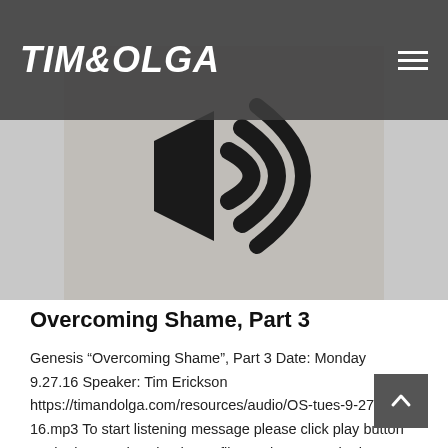TIM&OLGA
[Figure (illustration): Black and white image of a large speaker/audio icon on a textured paper background]
Overcoming Shame, Part 3
Genesis “Overcoming Shame”, Part 3 Date: Monday 9.27.16 Speaker: Tim Erickson https://timandolga.com/resources/audio/OS-tues-9-27-16.mp3 To start listening message please click play button on the bar. To download mp3 file use button at the bottom. Sign-up for Our Newsletter Here so that you get: The latest information of upcoming ministry [...]